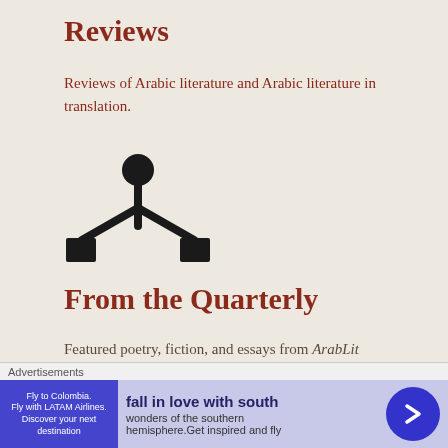Reviews
Reviews of Arabic literature and Arabic literature in translation.
[Figure (illustration): A small black icon resembling a person/figure with arms spread outward and downward, like a simplistic human or tripod symbol]
From the Quarterly
Featured poetry, fiction, and essays from ArabLit Quarterly.
[Figure (other): Partial large stylized number '20' in bold black at bottom of page]
[Figure (screenshot): Advertisement banner: 'fall in love with south - wonders of the southern hemisphere. Get inspired and fly' with LATAM Airlines branding and blue arrow button]